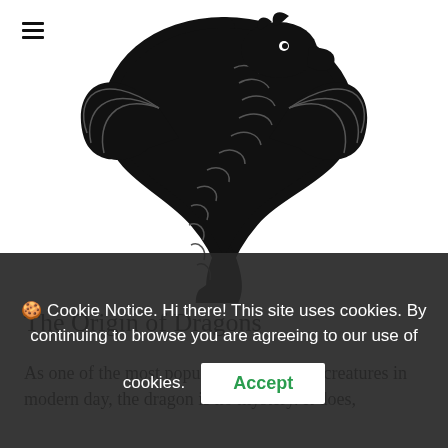[Figure (logo): Black dragon logo forming an S-shape with wings spread, body coiled, on white background]
The Origin of Dragons
As one of the most popular mythological creatures in modern day, the dragon is no mystery. It does,
🍪 Cookie Notice. Hi there! This site uses cookies. By continuing to browse you are agreeing to our use of cookies. Accept